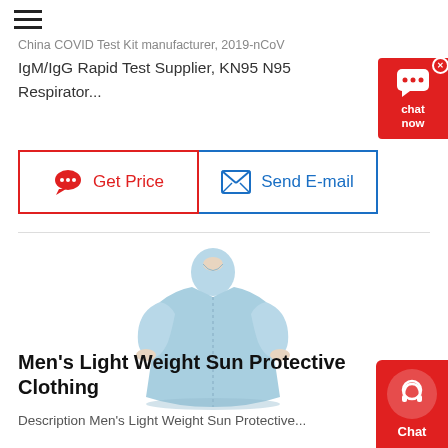China COVID Test Kit manufacturer, 2019-nCoV IgM/IgG Rapid Test Supplier, KN95 N95 Respirator...
Get Price
Send E-mail
[Figure (photo): Light blue medical/protective gown displayed on a person, long-sleeved isolation gown]
Men's Light Weight Sun Protective Clothing
Description Men's Light Weight Sun Protective...